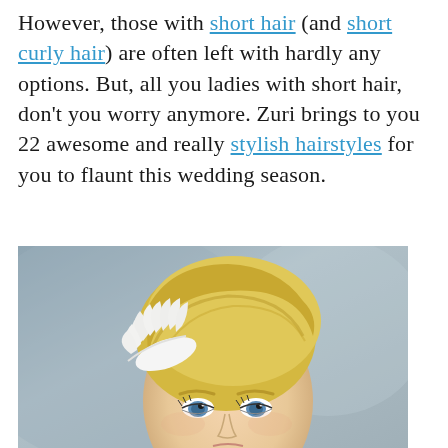However, those with short hair (and short curly hair) are often left with hardly any options. But, all you ladies with short hair, don't you worry anymore. Zuri brings to you 22 awesome and really stylish hairstyles for you to flaunt this wedding season.
[Figure (photo): A blonde woman with short upswept hair adorned with a white feather hair accessory, looking forward with blue eyes against a grey-blue background.]